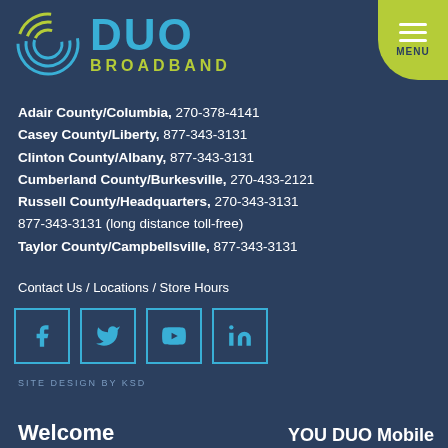[Figure (logo): DUO Broadband logo with circular signal icon in blue/green and text 'DUO' in blue and 'BROADBAND' in green]
Adair County/Columbia, 270-378-4141
Casey County/Liberty, 877-343-3131
Clinton County/Albany, 877-343-3131
Cumberland County/Burkesville, 270-433-2121
Russell County/Headquarters, 270-343-3131
877-343-3131 (long distance toll-free)
Taylor County/Campbellsville, 877-343-3131
Contact Us / Locations / Store Hours
[Figure (infographic): Social media icons: Facebook, Twitter, YouTube, LinkedIn in blue square borders]
SITE DESIGN BY KSD
Welcome
YOU DUO Mobile